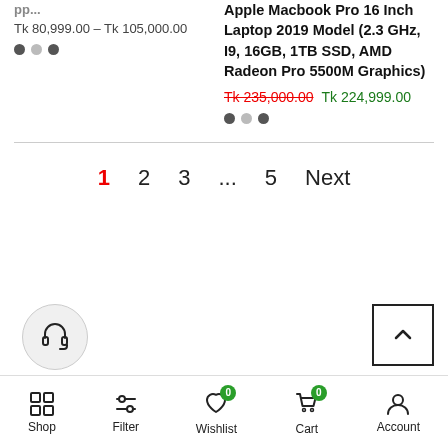Tk 80,999.00 – Tk 105,000.00
Apple Macbook Pro 16 Inch Laptop 2019 Model (2.3 GHz, I9, 16GB, 1TB SSD, AMD Radeon Pro 5500M Graphics)
Tk 235,000.00  Tk 224,999.00
1  2  3  ...  5  Next
Shop  Filter  Wishlist  Cart  Account